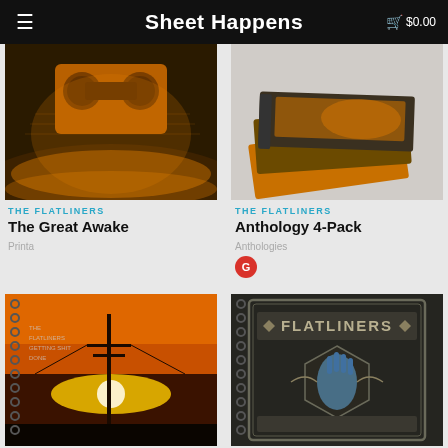Sheet Happens  🛒 $0.00
[Figure (photo): The Flatliners - The Great Awake album art notebook cover showing crowd and boombox in orange tones]
[Figure (photo): The Flatliners - Anthology 4-Pack showing stack of spiral notebooks with decorative covers]
THE FLATLINERS
The Great Awake
Printa
THE FLATLINERS
Anthology 4-Pack
Anthologies
[Figure (photo): The Flatliners notebook with sunset/utility pole cover art]
[Figure (photo): The Flatliners notebook with ornate FLATLINERS hand design cover]